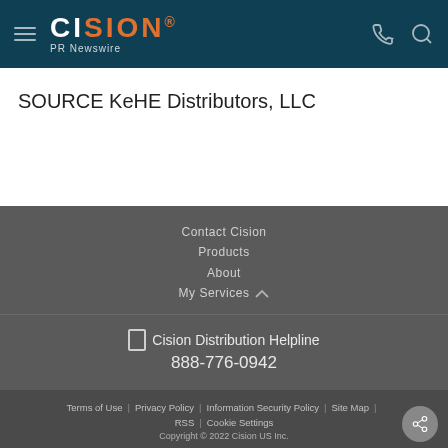CISION PR Newswire
SOURCE KeHE Distributors, LLC
Contact Cision
Products
About
My Services
Cision Distribution Helpline
888-776-0942
Terms of Use | Privacy Policy | Information Security Policy | Site Map | RSS | Cookie Settings
Copyright © 2022 Cision US Inc.